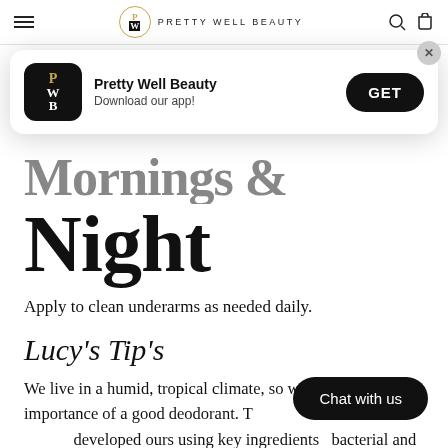PRETTY WELL BEAUTY
[Figure (screenshot): App download banner for Pretty Well Beauty app with icon, app name, subtitle 'Download our app!' and GET button]
Night
Apply to clean underarms as needed daily.
Lucy's Tip's
We live in a humid, tropical climate, so we understand the importance of a good deodorant. [T]developed ours using key ingredients[...] bacterial and anti-fungal properties that get to the root